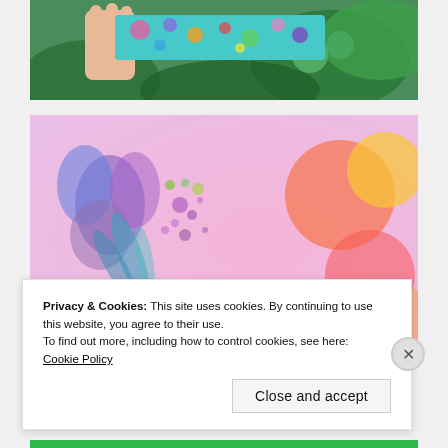[Figure (photo): A hand holding a small rectangular object with colorful floral/abstract teal, pink, and multicolor pattern, against a background of green tropical leaves.]
[Figure (photo): Artistic watercolor image with purple/blue floral elements on the left and colorful bokeh circles (orange, yellow, pink) on the right against a pink/lavender background. Text overlay reads 'my heart began to'.]
Privacy & Cookies: This site uses cookies. By continuing to use this website, you agree to their use.
To find out more, including how to control cookies, see here:
Cookie Policy
Close and accept